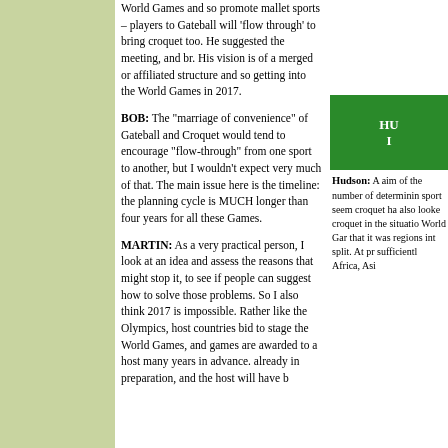World Games and so promote mallet sports – players to Gateball will 'flow through' to bring croquet too. He suggested the meeting, and br. His vision is of a merged or affiliated structure and so getting into the World Games in 2017.
BOB: The "marriage of convenience" of Gateball and Croquet would tend to encourage "flow-through" from one sport to another, but I wouldn't expect very much of that. The main issue here is the timeline: the planning cycle is MUCH longer than four years for all these Games.
MARTIN: As a very practical person, I look at an idea and assess the reasons that might stop it, to see if people can suggest how to solve those problems. So I also think 2017 is impossible. Rather like the Olympics, host countries bid to stage the World Games, and games are awarded to a host many years in advance. already in preparation, and the host will have b
HU
Hudson: A aim of the number of determinin sport seem croquet ha also looke croquet in the situatio World Gar that it was regions int split. At pr sufficientl Africa, Asi